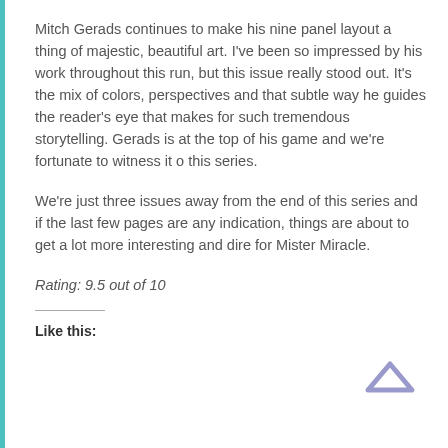Mitch Gerads continues to make his nine panel layout a thing of majestic, beautiful art. I've been so impressed by his work throughout this run, but this issue really stood out. It's the mix of colors, perspectives and that subtle way he guides the reader's eye that makes for such tremendous storytelling. Gerads is at the top of his game and we're fortunate to witness it o this series.
We're just three issues away from the end of this series and if the last few pages are any indication, things are about to get a lot more interesting and dire for Mister Miracle.
Rating: 9.5 out of 10
Like this: